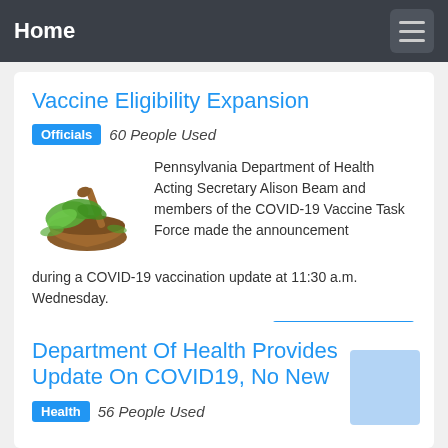Home
Vaccine Eligibility Expansion
Officials   60 People Used
[Figure (photo): Mortar and pestle with green herbs]
Pennsylvania Department of Health Acting Secretary Alison Beam and members of the COVID-19 Vaccine Task Force made the announcement during a COVID-19 vaccination update at 11:30 a.m. Wednesday.
Preview / Show details
Department Of Health Provides Update On COVID19, No New
Health   56 People Used